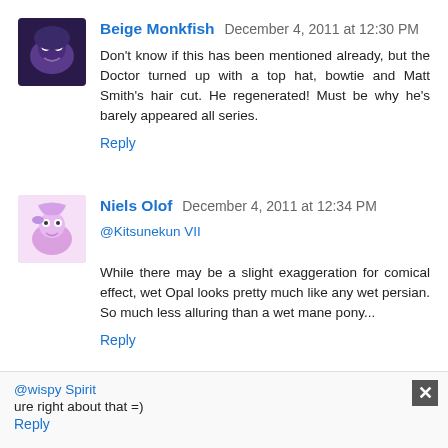Beige Monkfish December 4, 2011 at 12:30 PM
Don't know if this has been mentioned already, but the Doctor turned up with a top hat, bowtie and Matt Smith's hair cut. He regenerated! Must be why he's barely appeared all series.
Reply
Niels Olof December 4, 2011 at 12:34 PM
@Kitsunekun VII
While there may be a slight exaggeration for comical effect, wet Opal looks pretty much like any wet persian. So much less alluring than a wet mane pony...
Reply
X December 4, 2011 at 12:34 PM
@wispy Spirit
ure right about that =)
Reply